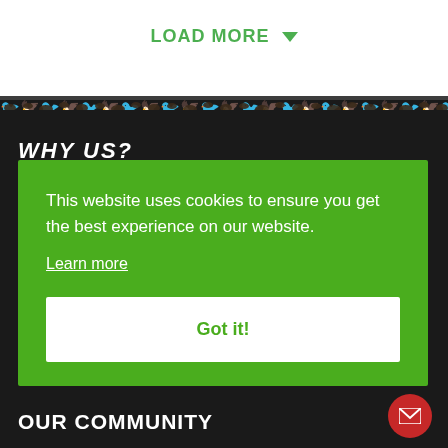LOAD MORE
[Figure (illustration): Decorative strip of small animal/bird silhouettes forming a border between white and dark sections]
WHY US?
This website uses cookies to ensure you get the best experience on our website.
Learn more
Got it!
OUR COMMUNITY